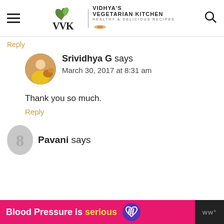[Figure (logo): VVK Vidhya's Vegetarian Kitchen logo with hamburger menu and search icon]
Reply
Srividhya G says
March 30, 2017 at 8:31 am
Thank you so much.
Reply
Pavani says
[Figure (infographic): Ad banner: Blood Pressure is serious with heart icon and ww logo]